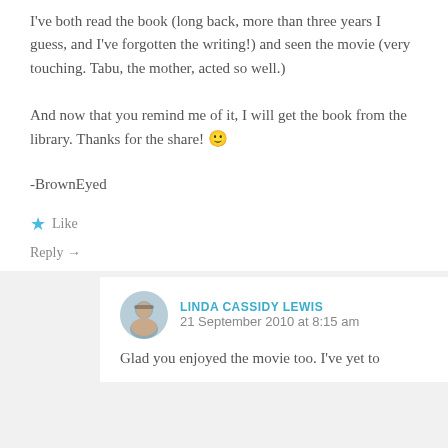I've both read the book (long back, more than three years I guess, and I've forgotten the writing!) and seen the movie (very touching. Tabu, the mother, acted so well.)
And now that you remind me of it, I will get the book from the library. Thanks for the share! 🙂
-BrownEyed
★ Like
Reply →
LINDA CASSIDY LEWIS
21 September 2010 at 8:15 am
Glad you enjoyed the movie too. I've yet to